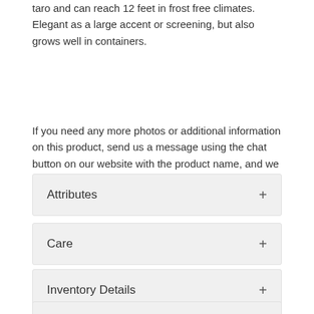taro and can reach 12 feet in frost free climates. Elegant as a large accent or screening, but also grows well in containers.
If you need any more photos or additional information on this product, send us a message using the chat button on our website with the product name, and we will get back to you as soon as possible.
Attributes
Care
Inventory Details
Product Reviews